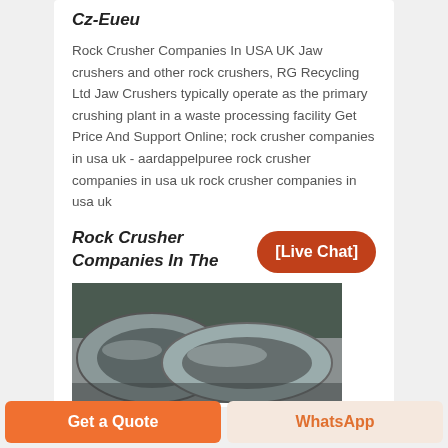Cz-Eueu
Rock Crusher Companies In USA UK Jaw crushers and other rock crushers, RG Recycling Ltd Jaw Crushers typically operate as the primary crushing plant in a waste processing facility Get Price And Support Online; rock crusher companies in usa uk - aardappelpuree rock crusher companies in usa uk rock crusher companies in usa uk
Rock Crusher Companies In The
[Figure (photo): Photograph of large metallic rock crusher rings/bowls made of steel, showing circular crusher components in an industrial workshop setting with green machinery in the background]
[Live Chat]
Get a Quote
WhatsApp